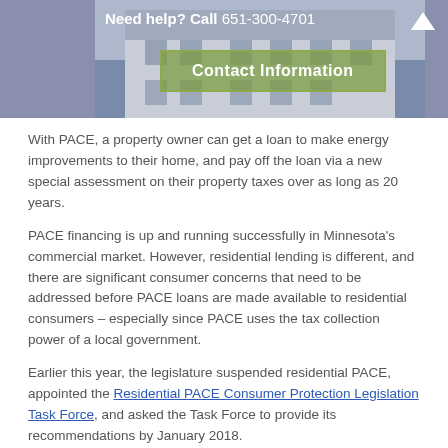[Figure (screenshot): Website header banner with blue-gray background, a house/Victorian building photo on the right, 'Need help? Call 651-300-4701' text, a yellow-green 'Contact Information' button, and an up-arrow icon on the top right.]
With PACE, a property owner can get a loan to make energy improvements to their home, and pay off the loan via a new special assessment on their property taxes over as long as 20 years.
PACE financing is up and running successfully in Minnesota's commercial market. However, residential lending is different, and there are significant consumer concerns that need to be addressed before PACE loans are made available to residential consumers – especially since PACE uses the tax collection power of a local government.
Earlier this year, the legislature suspended residential PACE, appointed the Residential PACE Consumer Protection Legislation Task Force, and asked the Task Force to provide its recommendations by January 2018.
You can read more about the need for consumer protections, and why CUB supported the bill that put a hold